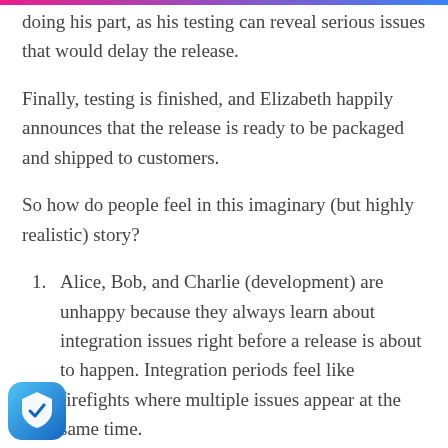doing his part, as his testing can reveal serious issues that would delay the release.
Finally, testing is finished, and Elizabeth happily announces that the release is ready to be packaged and shipped to customers.
So how do people feel in this imaginary (but highly realistic) story?
Alice, Bob, and Charlie (development) are unhappy because they always learn about integration issues right before a release is about to happen. Integration periods feel like firefights where multiple issues appear at the same time.
David (testing) is unhappy because his work is